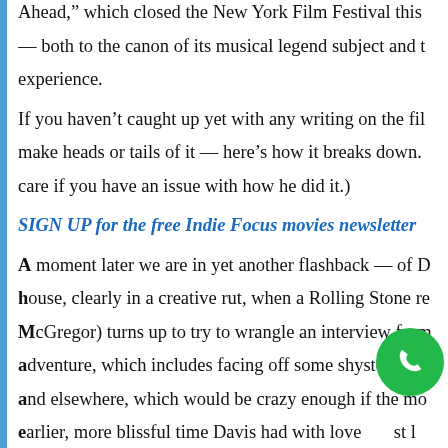Ahead,” which closed the New York Film Festival this — both to the canon of its musical legend subject and t experience.
If you haven’t caught up yet with any writing on the fil make heads or tails of it — here’s how it breaks down. care if you have an issue with how he did it.)
SIGN UP for the free Indie Focus movies newsletter
A moment later we are in yet another flashback — of D house, clearly in a creative rut, when a Rolling Stone re McGregor) turns up to try to wrangle an interview from adventure, which includes facing off some shysters in th and elsewhere, which would be crazy enough if the mo earlier, more blissful time Davis had with love st l would become his wife.
The film also basically has a one-two punch, a Roll D